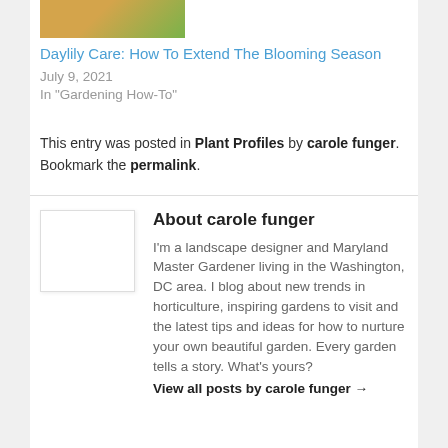[Figure (photo): Thumbnail image of daylily flower, yellow-orange color with green foliage]
Daylily Care: How To Extend The Blooming Season
July 9, 2021
In "Gardening How-To"
This entry was posted in Plant Profiles by carole funger. Bookmark the permalink.
About carole funger
[Figure (photo): Author avatar placeholder image, white/light gray box]
I'm a landscape designer and Maryland Master Gardener living in the Washington, DC area. I blog about new trends in horticulture, inspiring gardens to visit and the latest tips and ideas for how to nurture your own beautiful garden. Every garden tells a story. What's yours?
View all posts by carole funger →